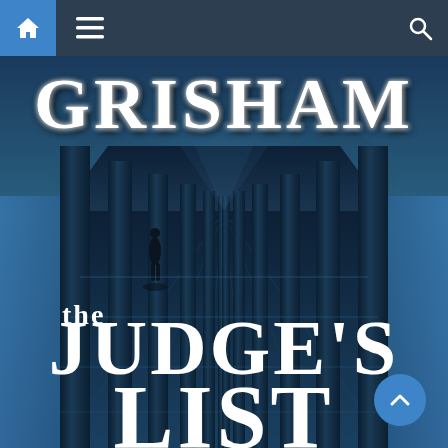Navigation bar with home, menu, and search icons
[Figure (illustration): Book cover of 'The Judge's List' by John Grisham. Dark blue atmospheric image showing a lone figure standing beneath a pier on a wet beach, with large pillars receding into the distance. The author's name 'GRISHAM' appears in large white serif letters at the top, and the title 'the JUDGE'S LIST' appears in large white serif letters in the lower portion.]